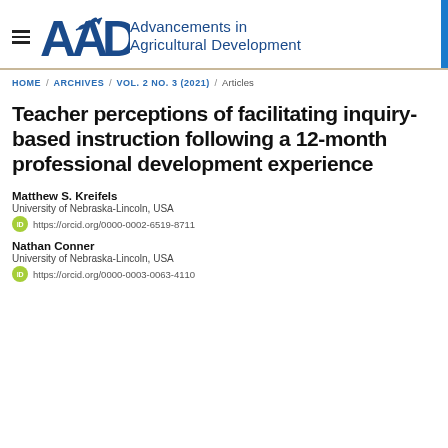Advancements in Agricultural Development — HOME / ARCHIVES / VOL. 2 NO. 3 (2021) / Articles
Teacher perceptions of facilitating inquiry-based instruction following a 12-month professional development experience
Matthew S. Kreifels
University of Nebraska-Lincoln, USA
https://orcid.org/0000-0002-6519-8711
Nathan Conner
University of Nebraska-Lincoln, USA
https://orcid.org/0000-0003-0063-4110